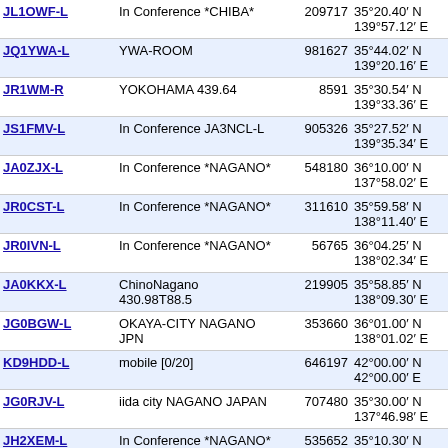| Callsign | Name | ID | Location | Grid | Num |
| --- | --- | --- | --- | --- | --- |
| JL1OWF-L | In Conference *CHIBA* | 209717 | 35°20.40′ N
139°57.12′ E | PM95xi | 6564 |
| JQ1YWA-L | YWA-ROOM | 981627 | 35°44.02′ N
139°20.16′ E | PM95qr | 6568 |
| JR1WM-R | YOKOHAMA 439.64 | 8591 | 35°30.54′ N
139°33.36′ E | PM95sm | 6571 |
| JS1FMV-L | In Conference JA3NCL-L | 905326 | 35°27.52′ N
139°35.34′ E | PM95tl | 6572 |
| JA0ZJX-L | In Conference *NAGANO* | 548180 | 36°10.00′ N
137°58.02′ E | PM86xe | 6598 |
| JR0CST-L | In Conference *NAGANO* | 311610 | 35°59.58′ N
138°11.40′ E | PM95cx | 6599 |
| JR0IVN-L | In Conference *NAGANO* | 56765 | 36°04.25′ N
138°02.34′ E | PM96ab | 6601 |
| JA0KKX-L | ChinoNagano 430.98T88.5 | 219905 | 35°58.85′ N
138°09.30′ E | PM95bx | 6601 |
| JG0BGW-L | OKAYA-CITY NAGANO JPN | 353660 | 36°01.00′ N
138°01.02′ E | PM96aa | 6604 |
| KD9HDD-L | mobile [0/20] | 646197 | 42°00.00′ N
42°00.00′ E | LN12aa | 6607 |
| JG0RJV-L | iida city NAGANO JAPAN | 707480 | 35°30.00′ N
137°46.98′ E | PM85vm | 6639 |
| JH2XEM-L | In Conference *NAGANO* | 535652 | 35°10.30′ N
136°53.52′ E | PM85ke | 6690 |
| JF2ANH-L | [Svx] Nagoya Japan (3) | 500972 | 35°06.65′ N
136°55.14′ E | PM85lc | 6692 |